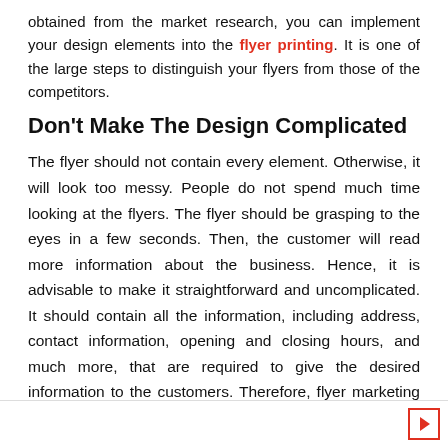obtained from the market research, you can implement your design elements into the flyer printing. It is one of the large steps to distinguish your flyers from those of the competitors.
Don't Make The Design Complicated
The flyer should not contain every element. Otherwise, it will look too messy. People do not spend much time looking at the flyers. The flyer should be grasping to the eyes in a few seconds. Then, the customer will read more information about the business. Hence, it is advisable to make it straightforward and uncomplicated. It should contain all the information, including address, contact information, opening and closing hours, and much more, that are required to give the desired information to the customers. Therefore, flyer marketing yields many advantages both to the business and to the customer.